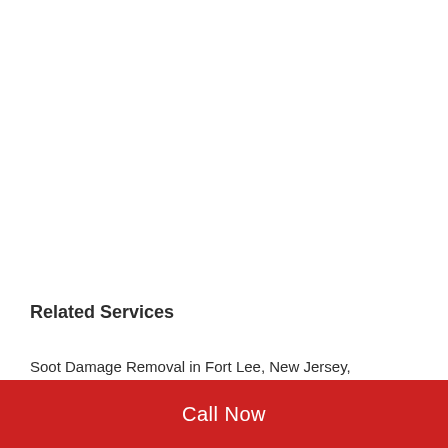Related Services
Soot Damage Removal in Fort Lee, New Jersey, 07024, (908) 402-4814
Soot Damage Cleaning in Fort Lee, New Jersey,
Call Now